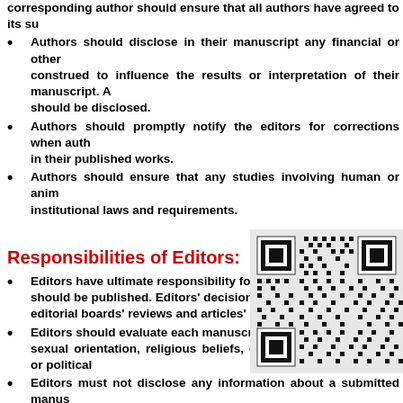corresponding author should ensure that all authors have agreed to its su
Authors should disclose in their manuscript any financial or other construed to influence the results or interpretation of their manuscript. A should be disclosed.
Authors should promptly notify the editors for corrections when auth in their published works.
Authors should ensure that any studies involving human or anim institutional laws and requirements.
Responsibilities of Editors:
[Figure (other): QR code image]
Editors have ultimate responsibility for decidin su should be published. Editors' decisions to accept or t s editorial boards' reviews and articles' importance.
Editors should evaluate each manuscript solely nt sexual orientation, religious beliefs, ethnic origin, citizenship, or political
Editors must not disclose any information about a submitted manus author, reviewers, potential reviewers, other editorial advisers and the pu
Editors will not use unpublished materials disclosed in a submitted written consent of the author(s).